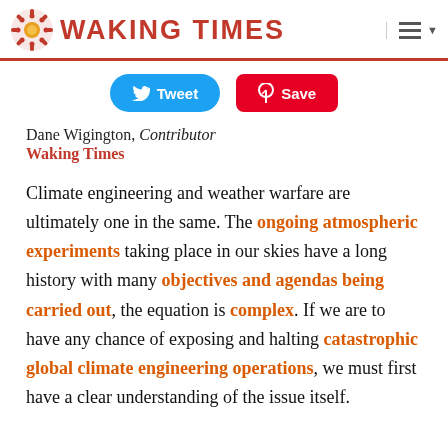WAKING TIMES
[Figure (logo): Waking Times logo with sunburst icon and red text]
Tweet  Save
Dane Wigington, Contributor
Waking Times
Climate engineering and weather warfare are ultimately one in the same. The ongoing atmospheric experiments taking place in our skies have a long history with many objectives and agendas being carried out, the equation is complex. If we are to have any chance of exposing and halting catastrophic global climate engineering operations, we must first have a clear understanding of the issue itself.